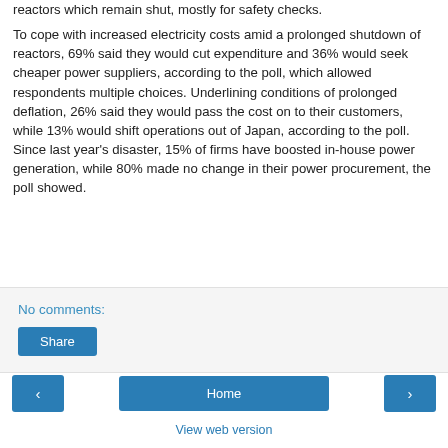reactors which remain shut, mostly for safety checks.
To cope with increased electricity costs amid a prolonged shutdown of reactors, 69% said they would cut expenditure and 36% would seek cheaper power suppliers, according to the poll, which allowed respondents multiple choices. Underlining conditions of prolonged deflation, 26% said they would pass the cost on to their customers, while 13% would shift operations out of Japan, according to the poll. Since last year's disaster, 15% of firms have boosted in-house power generation, while 80% made no change in their power procurement, the poll showed.
No comments:
Share
‹
Home
›
View web version